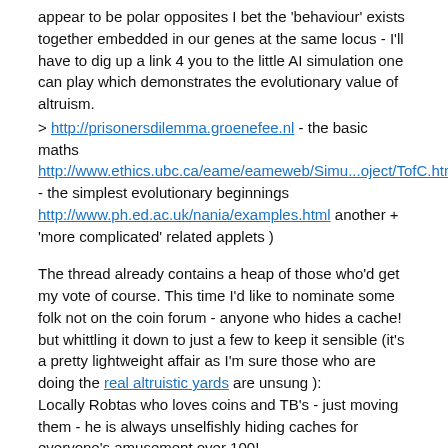appear to be polar opposites I bet the 'behaviour' exists together embedded in our genes at the same locus - I'll have to dig up a link 4 you to the little AI simulation one can play which demonstrates the evolutionary value of altruism.
> http://prisonersdilemma.groenefee.nl - the basic maths
http://www.ethics.ubc.ca/eame/eameweb/Simu...oject/TofC.html - the simplest evolutionary beginnings
http://www.ph.ed.ac.uk/nania/examples.html another + 'more complicated' related applets )
The thread already contains a heap of those who'd get my vote of course. This time I'd like to nominate some folk not on the coin forum - anyone who hides a cache! but whittling it down to just a few to keep it sensible (it's a pretty lightweight affair as I'm sure those who are doing the real altruistic yards are unsung ):
Locally Robtas who loves coins and TB's - just moving them - he is always unselfishly hiding caches for everyone's amusement over 100!
Further afield travelingviking for his Hannover TB safehouse and regions of germany coin project
prntr1